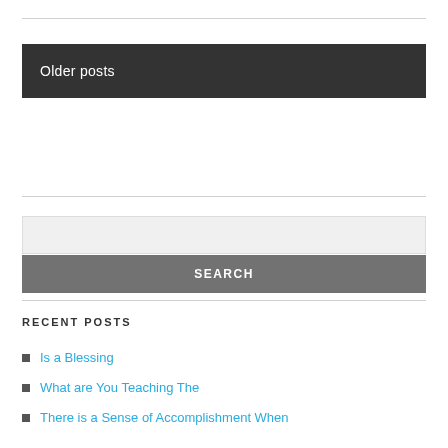Older posts
SEARCH
RECENT POSTS
Is a Blessing
What are You Teaching The
There is a Sense of Accomplishment When